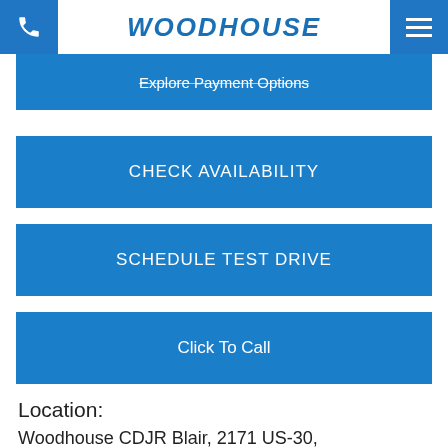WOODHOUSE
Explore Payment Options
CHECK AVAILABILITY
SCHEDULE TEST DRIVE
Click To Call
Location:
Woodhouse CDJR Blair, 2171 US-30, Blair, NE 68008